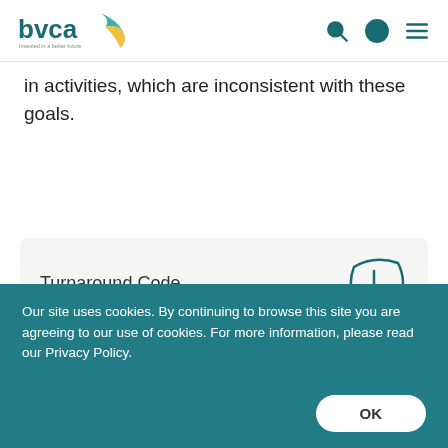bvca — Invested in a better future
in activities, which are inconsistent with these goals.
Turnaround Code
Our site uses cookies. By continuing to browse this site you are agreeing to our use of cookies. For more information, please read our Privacy Policy.